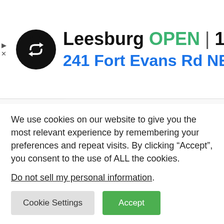[Figure (screenshot): Ad banner showing Leesburg store info: logo (black circle with double-arrow icon), store name 'Leesburg', status 'OPEN', hours '10AM–9PM', address '241 Fort Evans Rd NE, Leesb', and a blue navigation diamond icon. Small play and X icons on the left edge.]
[Figure (other): Collapse/minimize tab with an upward-pointing caret arrow, positioned below the ad banner.]
We use cookies on our website to give you the most relevant experience by remembering your preferences and repeat visits. By clicking “Accept”, you consent to the use of ALL the cookies.
Do not sell my personal information.